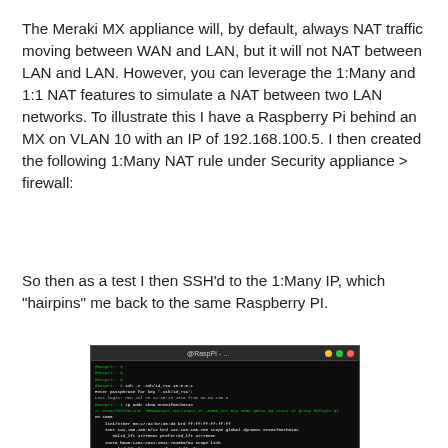The Meraki MX appliance will, by default, always NAT traffic moving between WAN and LAN, but it will not NAT between LAN and LAN. However, you can leverage the 1:Many and 1:1 NAT features to simulate a NAT between two LAN networks. To illustrate this I have a Raspberry Pi behind an MX on VLAN 10 with an IP of 192.168.100.5. I then created the following 1:Many NAT rule under Security appliance > firewall:
So then as a test I then SSH'd to the 1:Many IP, which "hairpins" me back to the same Raspberry PI.
[Figure (screenshot): Terminal window (dark background) showing SSH session to a Raspberry Pi with green text output including network interface information and IP addresses.]